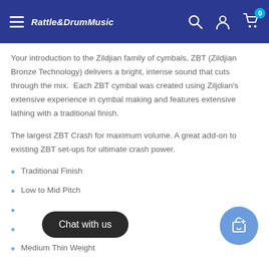Rattle&DrumMusic
Your introduction to the Zildjian family of cymbals, ZBT (Zildjian Bronze Technology) delivers a bright, intense sound that cuts through the mix. Each ZBT cymbal was created using Ziljdian's extensive experience in cymbal making and features extensive lathing with a traditional finish.
The largest ZBT Crash for maximum volume. A great add-on to existing ZBT set-ups for ultimate crash power.
Traditional Finish
Low to Mid Pitch
[obscured by Chat button]
[obscured by Chat button]
Medium Thin Weight